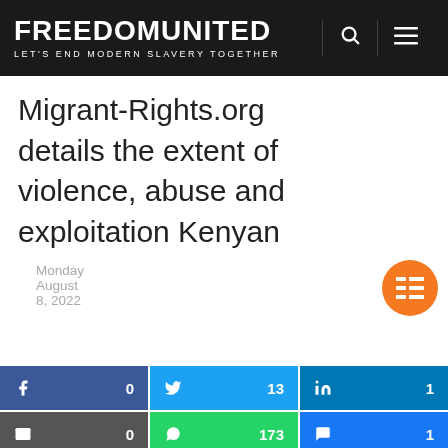FREEDOM UNITED — LET'S END MODERN SLAVERY TOGETHER
Migrant-Rights.org details the extent of violence, abuse and exploitation Kenyan
Monday August 8, 2022